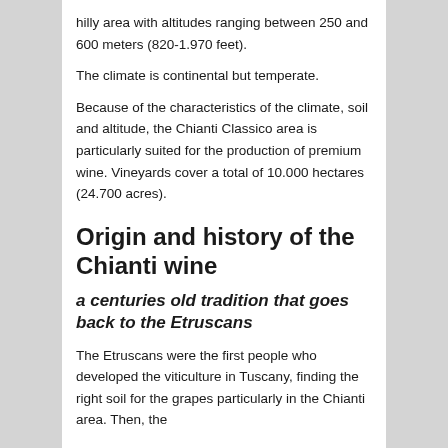hilly area with altitudes ranging between 250 and 600 meters (820-1.970 feet).
The climate is continental but temperate.
Because of the characteristics of the climate, soil and altitude, the Chianti Classico area is particularly suited for the production of premium wine. Vineyards cover a total of 10.000 hectares (24.700 acres).
Origin and history of the Chianti wine
a centuries old tradition that goes back to the Etruscans
The Etruscans were the first people who developed the viticulture in Tuscany, finding the right soil for the grapes particularly in the Chianti area. Then, the